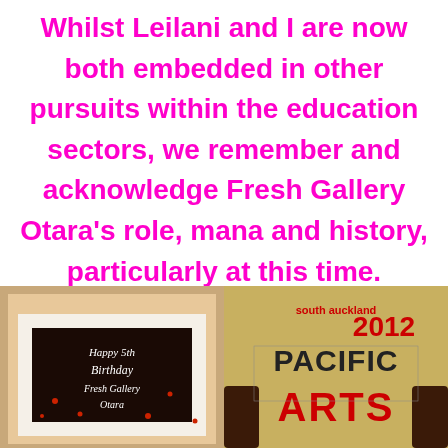Whilst Leilani and I are now both embedded in other pursuits within the education sectors, we remember and acknowledge Fresh Gallery Otara's role, mana and history, particularly at this time.
[Figure (photo): A birthday cake in a box with 'Happy 5th Birthday Fresh Gallery Otara' written on it in icing, dark chocolate cake with white border.]
[Figure (photo): A poster or banner being held up reading 'south auckland 2012 PACIFIC ARTS' with colorful Pacific-style lettering on a textured background.]